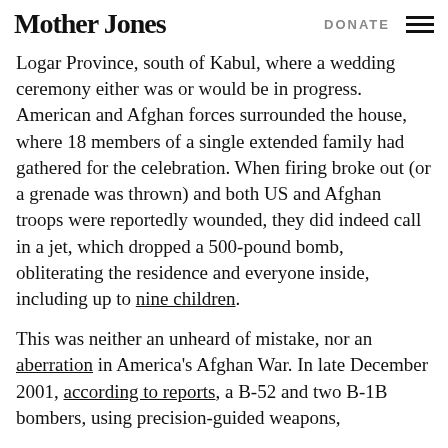Mother Jones | DONATE
Logar Province, south of Kabul, where a wedding ceremony either was or would be in progress. American and Afghan forces surrounded the house, where 18 members of a single extended family had gathered for the celebration. When firing broke out (or a grenade was thrown) and both US and Afghan troops were reportedly wounded, they did indeed call in a jet, which dropped a 500-pound bomb, obliterating the residence and everyone inside, including up to nine children.
This was neither an unheard of mistake, nor an aberration in America's Afghan War. In late December 2001, according to reports, a B-52 and two B-1B bombers, using precision-guided weapons,